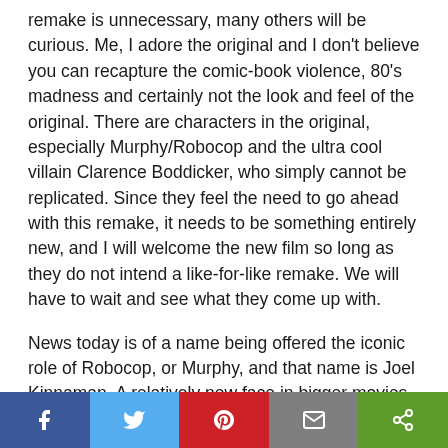remake is unnecessary, many others will be curious. Me, I adore the original and I don't believe you can recapture the comic-book violence, 80's madness and certainly not the look and feel of the original. There are characters in the original, especially Murphy/Robocop and the ultra cool villain Clarence Boddicker, who simply cannot be replicated. Since they feel the need to go ahead with this remake, it needs to be something entirely new, and I will welcome the new film so long as they do not intend a like-for-like remake. We will have to wait and see what they come up with.
News today is of a name being offered the iconic role of Robocop, or Murphy, and that name is Joel Kinnaman. A relatively new face in bigger movies, he was recently seen in The Girl with the Dragon Tattoo remake, as well as Safe House and TV series The Killing. He also stars in the yet to
[Figure (other): Social share bar with Facebook, Twitter, Pinterest, Email, and Share buttons]